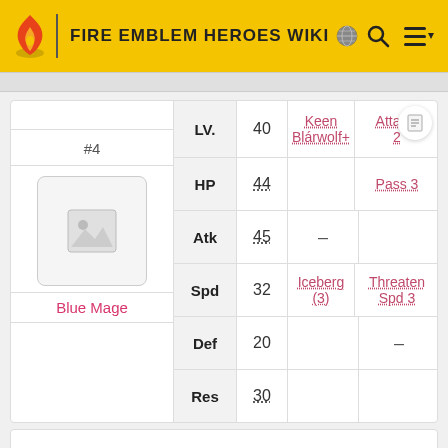FIRE EMBLEM HEROES WIKI
|  | Stat | Value | Skill | Passive |
| --- | --- | --- | --- | --- |
|  | LV. | 40 | Keen Blárwolf+ | Attack/
2 |
|  | HP | 44 |  | Pass 3 |
|  | Atk | 45 | — |  |
|  | Spd | 32 | Iceberg (3) | Threaten Spd 3 |
|  | Def | 20 |  | — |
|  | Res | 30 |  |  |
#4
Blue Mage
Reinforcement: Turn 3
[Expand]